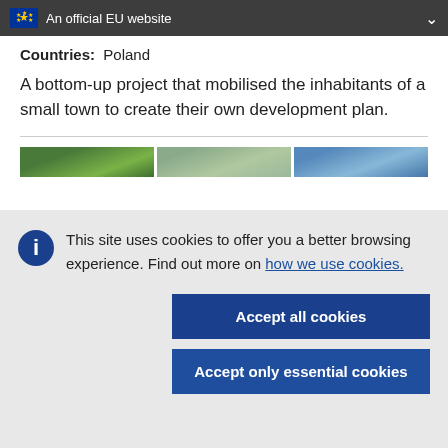An official EU website
Countries: Poland
A bottom-up project that mobilised the inhabitants of a small town to create their own development plan.
[Figure (photo): Three landscape/outdoor photos shown in a horizontal strip]
This site uses cookies to offer you a better browsing experience. Find out more on how we use cookies.